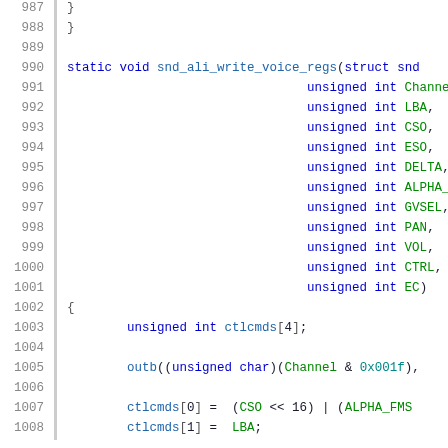Source code listing, lines 988-1008, showing snd_ali_write_voice_regs function definition in C
988  }
989  (blank)
990  static void snd_ali_write_voice_regs(struct snd...
991-1001  unsigned int parameters: Channel, LBA, CSO, ESO, DELTA, ALPHA_FMS, GVSEL, PAN, VOL, CTRL, EC
1002  {
1003  unsigned int ctlcmds[4];
1004  (blank)
1005  outb((unsigned char)(Channel & 0x001f),
1006  (blank)
1007  ctlcmds[0] = (CSO << 16) | (ALPHA_FMS...
1008  ctlcmds[1] = LBA;